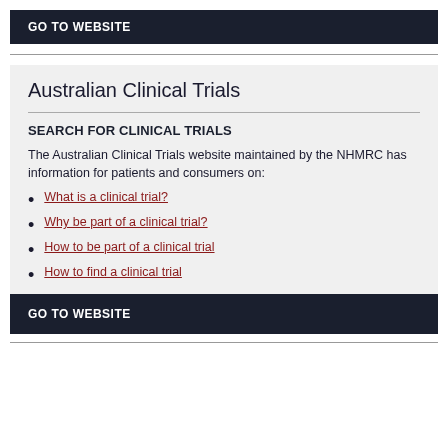GO TO WEBSITE
Australian Clinical Trials
SEARCH FOR CLINICAL TRIALS
The Australian Clinical Trials website maintained by the NHMRC has information for patients and consumers on:
What is a clinical trial?
Why be part of a clinical trial?
How to be part of a clinical trial
How to find a clinical trial
GO TO WEBSITE